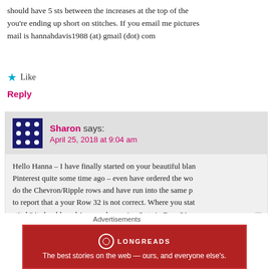should have 5 sts between the increases at the top of the you're ending up short on stitches. If you email me pictures mail is hannahdavis1988 (at) gmail (dot) com
Like
Reply
Sharon says: April 25, 2018 at 9:04 am
Hello Hanna – I have finally started on your beautiful blan Pinterest quite some time ago – even have ordered the wo do the Chevron/Ripple rows and have run into the same p to report that a your Row 32 is not correct. Where you stat stitch" it should read 1 sc, as decreasing 3 sts in Row 31 a two rows. Prior to this, I ripped out its, reread your instru the above comments to see if anyone else found this to b in Row 32 by sc 7 between the 3 sc at the top of the tri
Advertisements
[Figure (other): Longreads advertisement banner in dark red: 'The best stories on the web — ours, and everyone else's.']